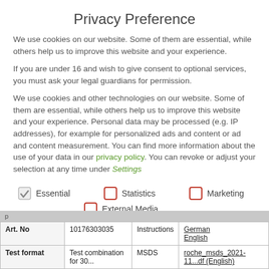Privacy Preference
We use cookies on our website. Some of them are essential, while others help us to improve this website and your experience.
If you are under 16 and wish to give consent to optional services, you must ask your legal guardians for permission.
We use cookies and other technologies on our website. Some of them are essential, while others help us to improve this website and your experience. Personal data may be processed (e.g. IP addresses), for example for personalized ads and content or ad and content measurement. You can find more information about the use of your data in our privacy policy. You can revoke or adjust your selection at any time under Settings.
Essential (checked)
Statistics (unchecked)
Marketing (unchecked)
External Media (unchecked)
|  |  | Instructions |  |
| --- | --- | --- | --- |
| Art. No | 10176303035 | Instructions | German
English |
| Test format | Test combination for 30... | MSDS | roche_msds_2021-11...df (English) |